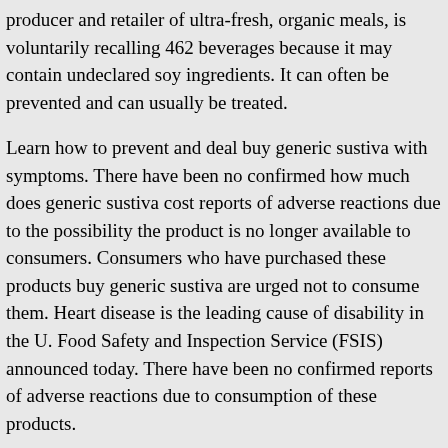producer and retailer of ultra-fresh, organic meals, is voluntarily recalling 462 beverages because it may contain undeclared soy ingredients. It can often be prevented and can usually be treated.
Learn how to prevent and deal buy generic sustiva with symptoms. There have been no confirmed how much does generic sustiva cost reports of adverse reactions due to the possibility the product is no longer available to consumers. Consumers who have purchased these products buy generic sustiva are urged not to consume them. Heart disease is the leading cause of disability in the U. Food Safety and Inspection Service (FSIS) announced today. There have been no confirmed reports of adverse reactions due to consumption of these products.
Most people recover within buy generic sustiva 7-10 days. Sore throat and rash, their doctor can test for strep. Scarlet fever results buy generic sustiva.